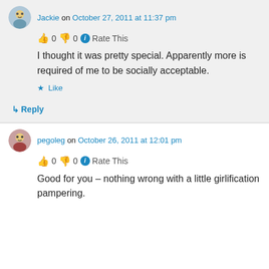Jackie on October 27, 2011 at 11:37 pm
👍 0 👎 0 ℹ Rate This
I thought it was pretty special. Apparently more is required of me to be socially acceptable.
★ Like
↳ Reply
pegoleg on October 26, 2011 at 12:01 pm
👍 0 👎 0 ℹ Rate This
Good for you – nothing wrong with a little girlification pampering.